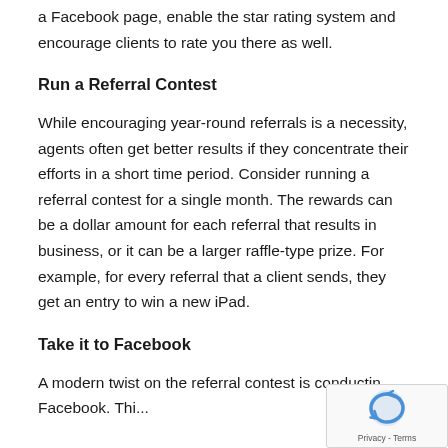a Facebook page, enable the star rating system and encourage clients to rate you there as well.
Run a Referral Contest
While encouraging year-round referrals is a necessity, agents often get better results if they concentrate their efforts in a short time period. Consider running a referral contest for a single month. The rewards can be a dollar amount for each referral that results in business, or it can be a larger raffle-type prize. For example, for every referral that a client sends, they get an entry to win a new iPad.
Take it to Facebook
A modern twist on the referral contest is conducting Facebook. Thi...